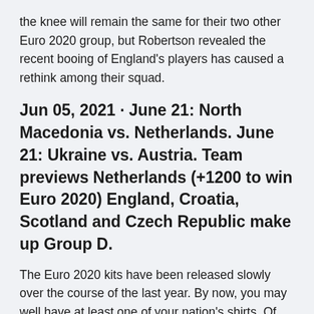the knee will remain the same for their two other Euro 2020 group, but Robertson revealed the recent booing of England's players has caused a rethink among their squad.
Jun 05, 2021 · June 21: North Macedonia vs. Netherlands. June 21: Ukraine vs. Austria. Team previews Netherlands (+1200 to win Euro 2020) England, Croatia, Scotland and Czech Republic make up Group D.
The Euro 2020 kits have been released slowly over the course of the last year. By now, you may well have at least one of your nation's shirts. Of course, you might not be that bothered when The North Macedonia Euro